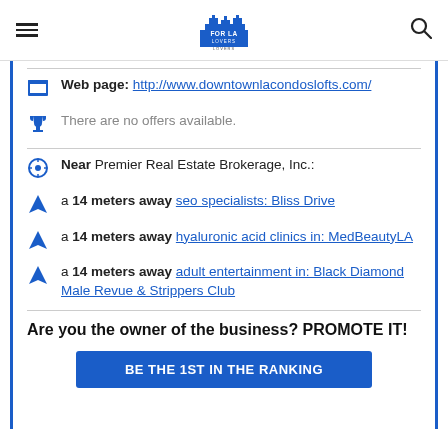FOR LA LOVERS (logo, hamburger menu, search icon)
Web page: http://www.downtownlacondoslofts.com/
There are no offers available.
Near Premier Real Estate Brokerage, Inc.:
a 14 meters away seo specialists: Bliss Drive
a 14 meters away hyaluronic acid clinics in: MedBeautyLA
a 14 meters away adult entertainment in: Black Diamond Male Revue & Strippers Club
Are you the owner of the business? PROMOTE IT!
BE THE 1ST IN THE RANKING